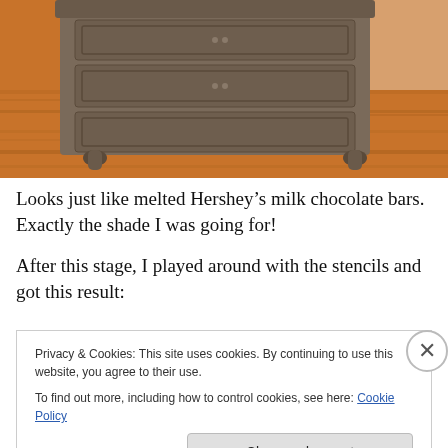[Figure (photo): Photo of a painted wooden dresser/chest of drawers with dark brown chocolate-colored finish, sitting on hardwood floor]
Looks just like melted Hershey’s milk chocolate bars. Exactly the shade I was going for!
After this stage, I played around with the stencils and got this result:
Privacy & Cookies: This site uses cookies. By continuing to use this website, you agree to their use.
To find out more, including how to control cookies, see here: Cookie Policy